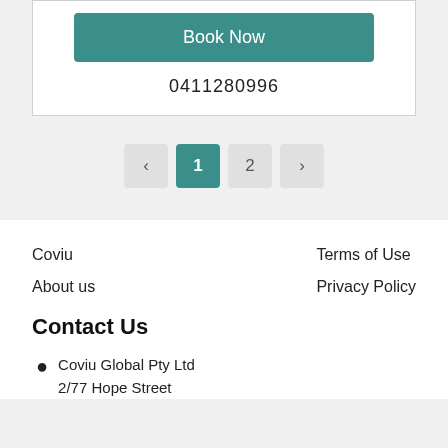Book Now
0411280996
< 1 2 >
Coviu
Terms of Use
About us
Privacy Policy
Contact Us
Coviu Global Pty Ltd
2/77 Hope Street